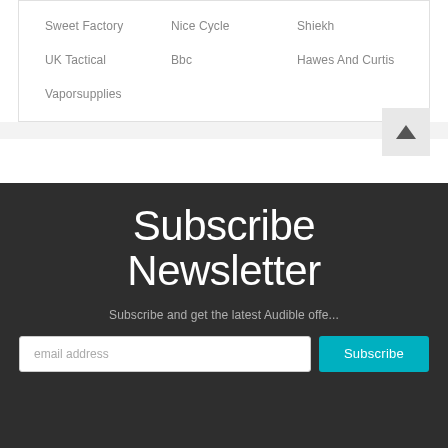Sweet Factory
Nice Cycle
Shiekh
UK Tactical
Bbc
Hawes And Curtis
Vaporsupplies
Subscribe Newsletter
Subscribe and get the latest Audible offe...
email address
Subscribe